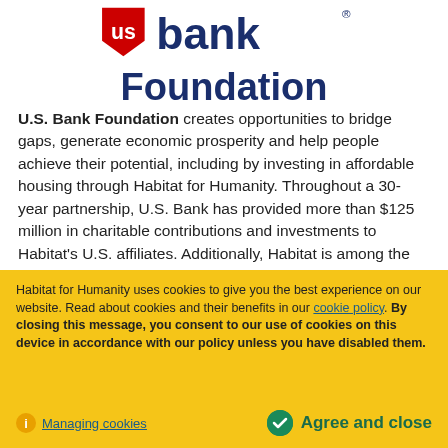[Figure (logo): U.S. Bank Foundation logo with red shield emblem and dark blue 'us bank' text, with 'Foundation' below]
U.S. Bank Foundation creates opportunities to bridge gaps, generate economic prosperity and help people achieve their potential, including by investing in affordable housing through Habitat for Humanity. Throughout a 30-year partnership, U.S. Bank has provided more than $125 million in charitable contributions and investments to Habitat's U.S. affiliates. Additionally, Habitat is among the top choices for U.S. Bank employee volunteerism. This is
Habitat for Humanity uses cookies to give you the best experience on our website. Read about cookies and their benefits in our cookie policy. By closing this message, you consent to our use of cookies on this device in accordance with our policy unless you have disabled them.
Managing cookies
Agree and close